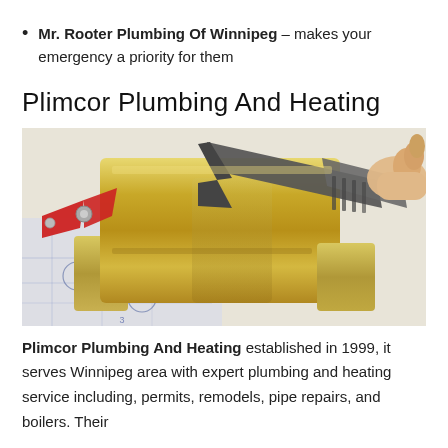Mr. Rooter Plumbing Of Winnipeg – makes your emergency a priority for them
Plimcor Plumbing And Heating
[Figure (photo): A close-up photo of a brass plumbing valve/pipe fitting with a red butterfly handle being gripped by a grey adjustable wrench held by a human hand, placed on top of a blueprint drawing.]
Plimcor Plumbing And Heating established in 1999, it serves Winnipeg area with expert plumbing and heating service including, permits, remodels, pipe repairs, and boilers. Their